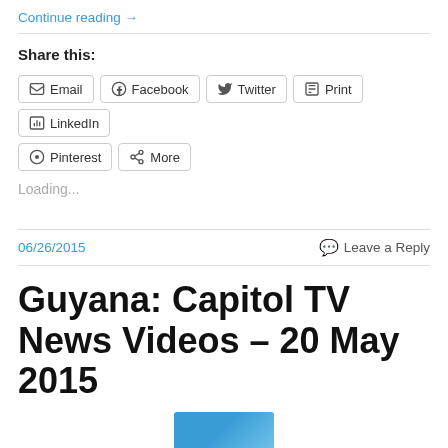Continue reading →
Share this:
Email  Facebook  Twitter  Print  LinkedIn  Pinterest  More
Loading...
06/26/2015
Leave a Reply
Guyana: Capitol TV News Videos – 20 May 2015
[Figure (photo): Thumbnail image partially visible at bottom of page]